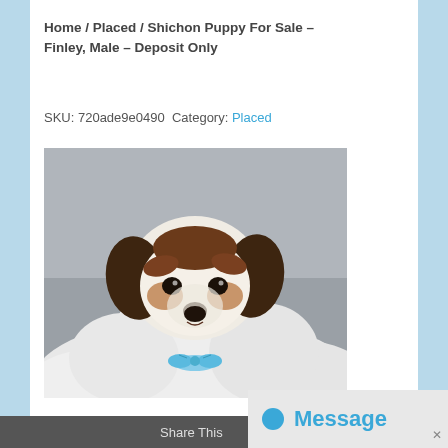Home / Placed / Shichon Puppy For Sale – Finley, Male – Deposit Only
SKU: 720ade9e0490 Category: Placed
[Figure (photo): A small Shichon puppy with white and brown fur, dark floppy ears, dark eyes, and a small black nose, wearing a light blue bow tie, photographed against a grey fluffy background.]
Share This
Message